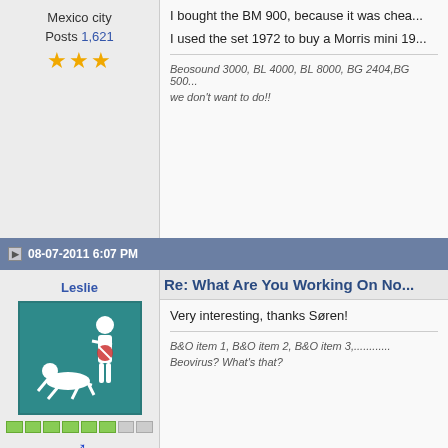Mexico city
Posts 1,621
[Figure (illustration): Three gold/yellow star rating icons]
I bought the BM 900, because it was chea...
I used the set 1972 to buy a Morris mini 19...
Beosound 3000, BL 4000, BL 8000, BG 2404,BG 500...
we don't want to do!!
08-07-2011 6:07 PM
Leslie
[Figure (illustration): Forum avatar: teal background with white stick figure icons]
[Figure (infographic): Green and gray reputation bar squares]
♂
Joined on 05-07-2009
Netherlands
Re: What Are You Working On No...
Very interesting, thanks Søren!
B&O item 1, B&O item 2, B&O item 3,...........
Beovirus? What's that?